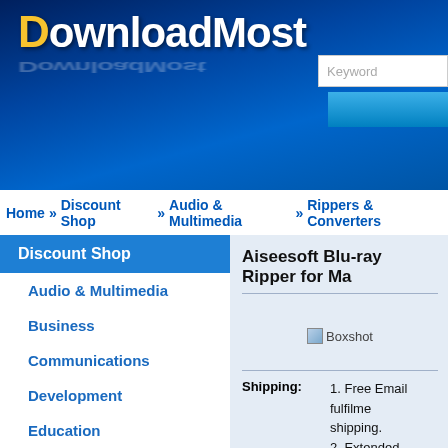[Figure (logo): DownloadMost website logo on blue gradient header background]
Home » Discount Shop » Audio & Multimedia » Rippers & Converters
Discount Shop
Audio & Multimedia
Business
Communications
Development
Education
Graphic Apps
Home & Hobby
Network & Internet
Security & Privacy
Servers
System Utilities
Aiseesoft Blu-ray Ripper for Ma
[Figure (other): Boxshot placeholder image]
Shipping: 1. Free Email fulfilment shipping. 2. Extended download 3. Backup CD (Optio
Payment: [Visa, MasterCard, and another card]